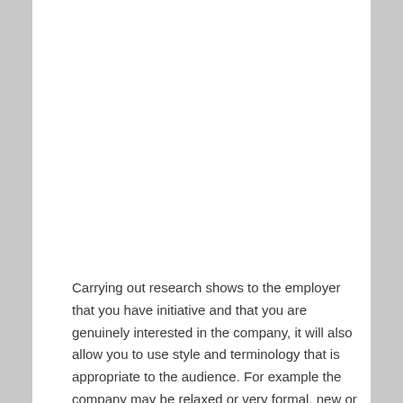Carrying out research shows to the employer that you have initiative and that you are genuinely interested in the company, it will also allow you to use style and terminology that is appropriate to the audience. For example the company may be relaxed or very formal, new or established, rapidly expanding or in the doldrums.